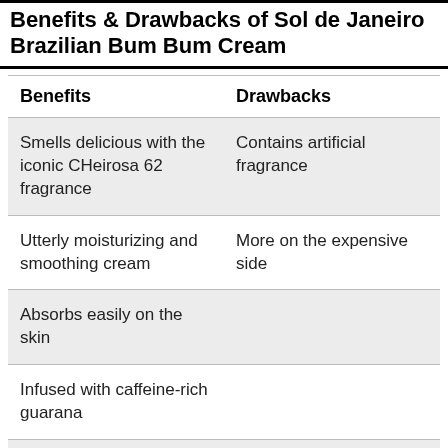Benefits & Drawbacks of Sol de Janeiro Brazilian Bum Bum Cream
| Benefits | Drawbacks |
| --- | --- |
| Smells delicious with the iconic CHeirosa 62 fragrance | Contains artificial fragrance |
| Utterly moisturizing and smoothing cream | More on the expensive side |
| Absorbs easily on the skin |  |
| Infused with caffeine-rich guarana |  |
| Improves collagen production for a |  |